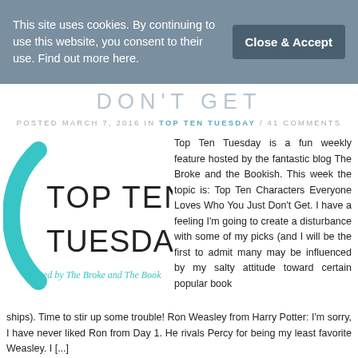This site uses cookies. By continuing to use this website, you consent to their use. Find out more here.
Close & Accept
DON'T GET
POSTED MARCH 7, 2016 IN TOP TEN TUESDAY / 41 COMMENTS
[Figure (logo): Top Ten Tuesday logo with teal decorative element and cursive text 'hosted by The Broke and The Book']
Top Ten Tuesday is a fun weekly feature hosted by the fantastic blog The Broke and the Bookish. This week the topic is: Top Ten Characters Everyone Loves Who You Just Don't Get. I have a feeling I'm going to create a disturbance with some of my picks (and I will be the first to admit many may be influenced by my salty attitude toward certain popular book ships). Time to stir up some trouble! Ron Weasley from Harry Potter: I'm sorry, I have never liked Ron from Day 1. He rivals Percy for being my least favorite Weasley. I [...]